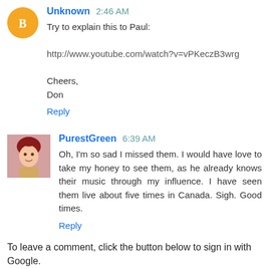Unknown 2:46 AM
Try to explain this to Paul:

http://www.youtube.com/watch?v=vPKeczB3wrg

Cheers,
Don
Reply
PurestGreen 6:39 AM
Oh, I'm so sad I missed them. I would have love to take my honey to see them, as he already knows their music through my influence. I have seen them live about five times in Canada. Sigh. Good times.
Reply
To leave a comment, click the button below to sign in with Google.
SIGN IN WITH GOOGLE